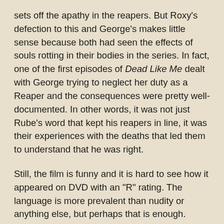sets off the apathy in the reapers. But Roxy's defection to this and George's makes little sense because both had seen the effects of souls rotting in their bodies in the series. In fact, one of the first episodes of Dead Like Me dealt with George trying to neglect her duty as a Reaper and the consequences were pretty well-documented. In other words, it was not just Rube's word that kept his reapers in line, it was their experiences with the deaths that led them to understand that he was right.
Still, the film is funny and it is hard to see how it appeared on DVD with an "R" rating. The language is more prevalent than nudity or anything else, but perhaps that is enough. Come to think of it, the f-word is said more than twice, so that might have done it. Outside the reaper's gone wild storyline, the movie is strong on character, especially as George and Reggie come together. What Dead Like Me: Life After Death does especially well is progress the Reggie character and actually forward some of the living characters in interesting ways.
For example, Joy Lass, George's mother, is much more